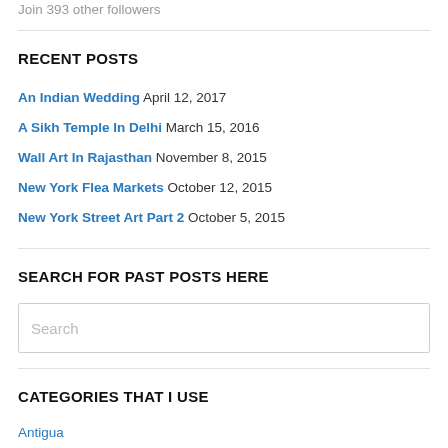Join 393 other followers
RECENT POSTS
An Indian Wedding April 12, 2017
A Sikh Temple In Delhi March 15, 2016
Wall Art In Rajasthan November 8, 2015
New York Flea Markets October 12, 2015
New York Street Art Part 2 October 5, 2015
SEARCH FOR PAST POSTS HERE
Search
CATEGORIES THAT I USE
Antigua